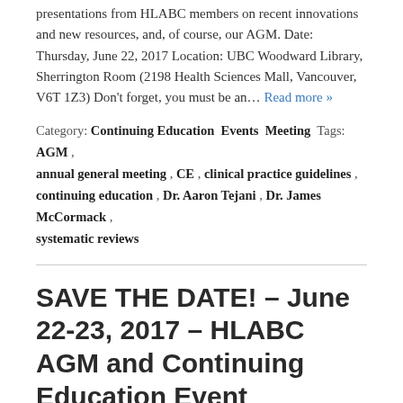presentations from HLABC members on recent innovations and new resources, and, of course, our AGM. Date: Thursday, June 22, 2017 Location: UBC Woodward Library, Sherrington Room (2198 Health Sciences Mall, Vancouver, V6T 1Z3) Don't forget, you must be an… Read more »
Category: Continuing Education Events Meeting Tags: AGM, annual general meeting , CE, clinical practice guidelines , continuing education , Dr. Aaron Tejani , Dr. James McCormack , systematic reviews
SAVE THE DATE! – June 22-23, 2017 – HLABC AGM and Continuing Education Event
Please save the dates for the HLABC AGM and Summer Continuing Education event on Thursday June 22nd and